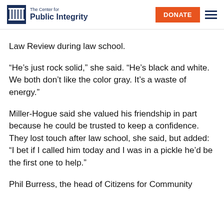The Center for Public Integrity | DONATE
Law Review during law school.
“He’s just rock solid,” she said. “He’s black and white. We both don’t like the color gray. It’s a waste of energy.”
Miller-Hogue said she valued his friendship in part because he could be trusted to keep a confidence. They lost touch after law school, she said, but added: “I bet if I called him today and I was in a pickle he’d be the first one to help.”
Phil Burress, the head of Citizens for Community